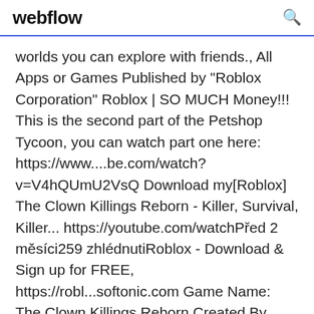webflow
worlds you can explore with friends., All Apps or Games Published by "Roblox Corporation" Roblox | SO MUCH Money!!! This is the second part of the Petshop Tycoon, you can watch part one here: https://www....be.com/watch?v=V4hQUmU2VsQ Download my[Roblox] The Clown Killings Reborn - Killer, Survival, Killer... https://youtube.com/watchPřed 2 měsíci259 zhlédnutiRoblox - Download & Sign up for FREE, https://robl...softonic.com Game Name: The Clown Killings Reborn Created By, (@LG_RBLX) (Lua_Basics) Genre: Horror/SFree roblox ingyenes letöltése Download - roblox ingyenes...https://updatestar.com/topic/roblox ingyenes letöltéseFree roblox ingyenes